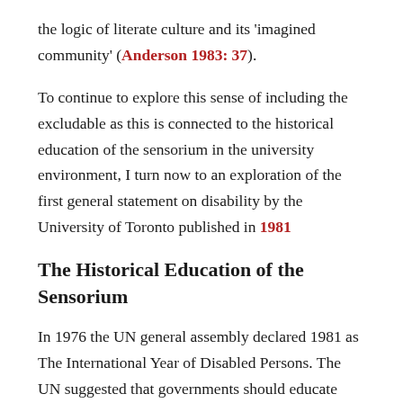the logic of literate culture and its 'imagined community' (Anderson 1983: 37).
To continue to explore this sense of including the excludable as this is connected to the historical education of the sensorium in the university environment, I turn now to an exploration of the first general statement on disability by the University of Toronto published in 1981
The Historical Education of the Sensorium
In 1976 the UN general assembly declared 1981 as The International Year of Disabled Persons. The UN suggested that governments should educate their